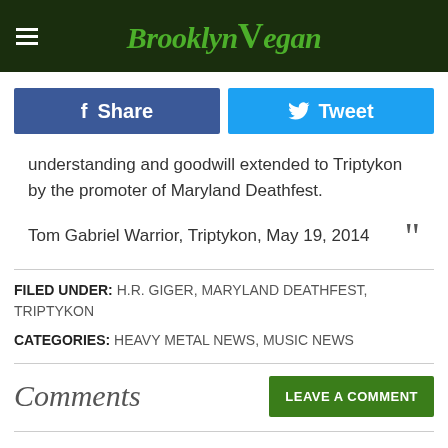BrooklynVegan
f Share   Tweet
understanding and goodwill extended to Triptykon by the promoter of Maryland Deathfest.
Tom Gabriel Warrior, Triptykon, May 19, 2014
FILED UNDER: H.R. GIGER, MARYLAND DEATHFEST, TRIPTYKON
CATEGORIES: HEAVY METAL NEWS, MUSIC NEWS
Comments
LEAVE A COMMENT
Check It Out